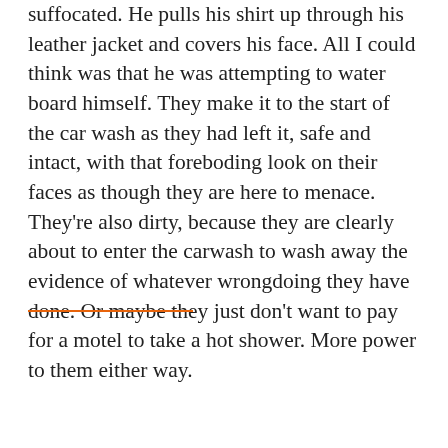suffocated. He pulls his shirt up through his leather jacket and covers his face. All I could think was that he was attempting to water board himself. They make it to the start of the car wash as they had left it, safe and intact, with that foreboding look on their faces as though they are here to menace. They're also dirty, because they are clearly about to enter the carwash to wash away the evidence of whatever wrongdoing they have done. Or maybe they just don't want to pay for a motel to take a hot shower. More power to them either way.
[Figure (screenshot): SoundCloud embedded music player widget showing Epitaph Records artist, track 'Plague Vend', with Play on SoundCloud button and Listen in browser button]